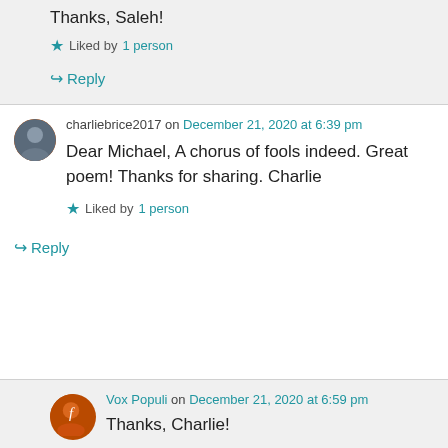Thanks, Saleh!
Liked by 1 person
Reply
charliebrice2017 on December 21, 2020 at 6:39 pm
Dear Michael, A chorus of fools indeed. Great poem! Thanks for sharing. Charlie
Liked by 1 person
Reply
Vox Populi on December 21, 2020 at 6:59 pm
Thanks, Charlie!